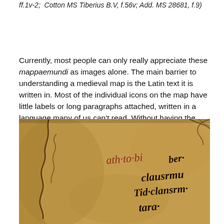ff.1v-2;  Cotton MS Tiberius B.V, f.56v; Add. MS 28681, f.9)
Currently, most people can only really appreciate these mappaemundi as images alone. The main barrier to understanding a medieval map is the Latin text it is written in. Most of the individual icons on the map have little labels or long paragraphs attached, written in a language many of us can't read. Without having the textual information accessible, you are essentially just looking at images - worthwhile in itself, but limiting.
[Figure (photo): Close-up photograph of a medieval manuscript map (mappa mundi) showing parchment with gothic/blackletter script in black ink and red ink, and an outline drawing of a coastline or geographic feature against a tan/ochre parchment background.]